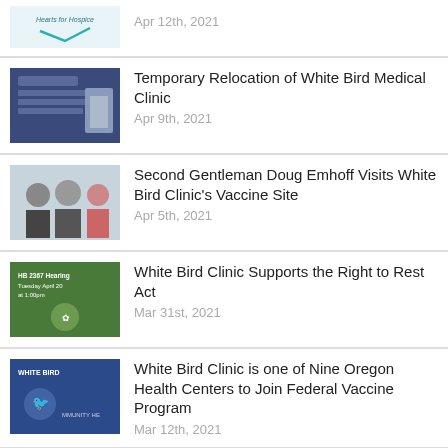Apr 12th, 2021
Temporary Relocation of White Bird Medical Clinic
Apr 9th, 2021
Second Gentleman Doug Emhoff Visits White Bird Clinic's Vaccine Site
Apr 5th, 2021
White Bird Clinic Supports the Right to Rest Act
Mar 31st, 2021
White Bird Clinic is one of Nine Oregon Health Centers to Join Federal Vaccine Program
Mar 12th, 2021
White Bird Partners with the WOW Hall for COVID-19 Vaccination Program
Mar 8th, 2021